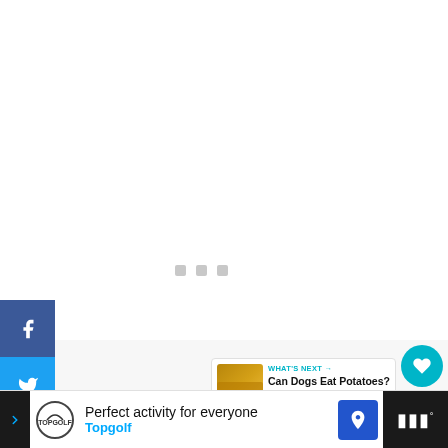[Figure (screenshot): Social media share sidebar with Facebook (blue), Twitter (light blue), and Pinterest (red) buttons on the left edge of the page]
[Figure (screenshot): Three small gray loading/placeholder dots in the center of the page content area]
[Figure (screenshot): Teal circular heart/like button on the right side]
[Figure (screenshot): White circular share button with share icon on the right side]
[Figure (screenshot): What's Next card showing a potato image and text 'Can Dogs Eat Potatoes? |...']
Sweet potatoes are a “whole food” and give
[Figure (screenshot): Advertisement banner: 'Perfect activity for everyone - Topgolf' with Topgolf logo and a blue location pin icon]